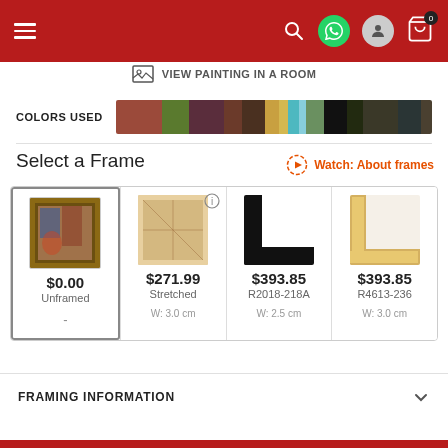Navigation header with hamburger menu, search, WhatsApp, user, and cart icons
VIEW PAINTING IN A ROOM
COLORS USED
Select a Frame
Watch: About frames
| Option | Price | Name | Width |
| --- | --- | --- | --- |
| Unframed | $0.00 | Unframed | - |
| Stretched | $271.99 | Stretched | W: 3.0 cm |
| R2018-218A | $393.85 | R2018-218A | W: 2.5 cm |
| R4613-236 | $393.85 | R4613-236 | W: 3.0 cm |
FRAMING INFORMATION